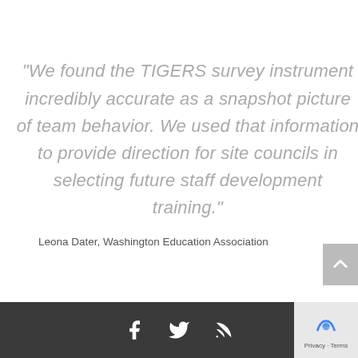“We found the TIGERS survey instrument incredibly accurate as a snapshot picture of team behavior. We used that information to provide direction for site councils in selecting future staff development training.”
Leona Dater, Washington Education Association
Social media icons: Facebook, Twitter, RSS feed. Privacy · Terms